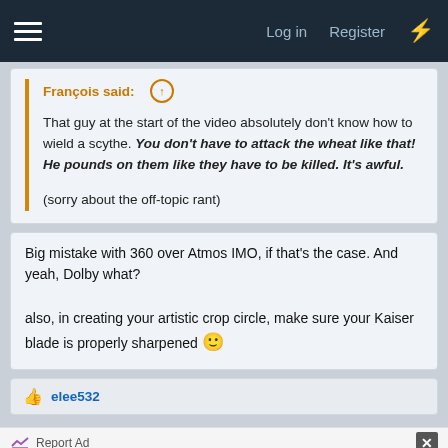Log in  Register
François said: ↑

That guy at the start of the video absolutely don't know how to wield a scythe. You don't have to attack the wheat like that! He pounds on them like they have to be killed. It's awful.

(sorry about the off-topic rant)
Big mistake with 360 over Atmos IMO, if that's the case. And yeah, Dolby what?

also, in creating your artistic crop circle, make sure your Kaiser blade is properly sharpened 🙂
elee532
Report Ad

Visit Premium Outlets®
Leesburg Premium Outlets